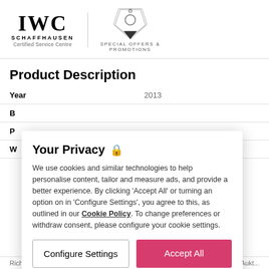[Figure (logo): IWC Schaffhausen Certified Service Centre logo on left with price tag graphic and 'Special Offers & Promotions' text on right]
Product Description
| Field | Value |
| --- | --- |
| Year | 2013 |
| B |  |
| P |  |
| W |  |
| P |  |
| M |  |
| C |  |
| C |  |
| B |  |
Your Privacy
We use cookies and similar technologies to help personalise content, tailor and measure ads, and provide a better experience. By clicking 'Accept All' or turning an option on in 'Configure Settings', you agree to this, as outlined in our Cookie Policy. To change preferences or withdraw consent, please configure your cookie settings.
Configure Settings
Accept All
Richt...   Place/Aukt...